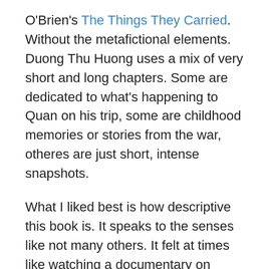O'Brien's The Things They Carried. Without the metafictional elements. Duong Thu Huong uses a mix of very short and long chapters. Some are dedicated to what's happening to Quan on his trip, some are childhood memories or stories from the war, otheres are just short, intense snapshots.
What I liked best is how descriptive this book is. It speaks to the senses like not many others. It felt at times like watching a documentary on Vietnam. We read about the food, the flora, the fauna, the beliefs, the scents, the way people love, sleep, cook. Several chapters describe the landscape and make you want to visit this country that has sun sets the color of chrysanthemum flowers.
Duong Thu Huong served in the North Vietnamese army and so it's not surprising the descriptions of combat, dead